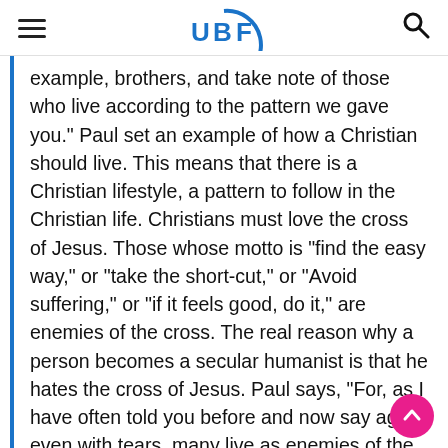UBF
example, brothers, and take note of those who live according to the pattern we gave you." Paul set an example of how a Christian should live. This means that there is a Christian lifestyle, a pattern to follow in the Christian life. Christians must love the cross of Jesus. Those whose motto is "find the easy way," or "take the short-cut," or "Avoid suffering," or "if it feels good, do it," are enemies of the cross. The real reason why a person becomes a secular humanist is that he hates the cross of Jesus. Paul says, "For, as I have often told you before and now say again even with tears, many live as enemies of the cross of Christ. Their destiny is destruction, their god is their stomach, and their glory is in their shame. Their